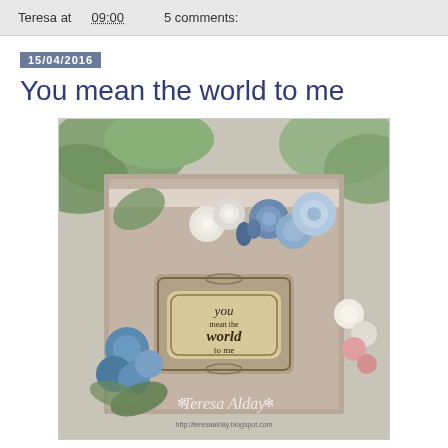Teresa at 09:00    5 comments:
15/04/2016
You mean the world to me
[Figure (photo): Handmade craft card decorated with blue and white paper roses and flowers, featuring a tag label reading 'you mean the world to me', with green foliage and a watermark 'Teresa Alday' and a blog URL at the bottom.]